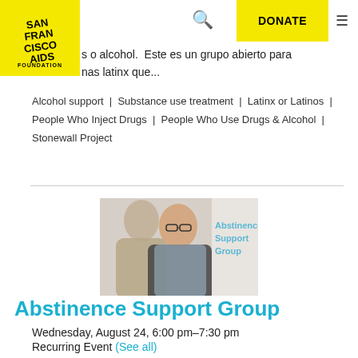San Francisco AIDS Foundation | DONATE
s o alcohol. Este es un grupo abierto para nas latinx que...
Alcohol support | Substance use treatment | Latinx or Latinos | People Who Inject Drugs | People Who Use Drugs & Alcohol | Stonewall Project
[Figure (photo): Two people looking at something, with text overlay 'Abstinence Support Group']
Abstinence Support Group
Wednesday, August 24, 6:00 pm–7:30 pm
Recurring Event (See all)
STRUT, 3RD FLOOR